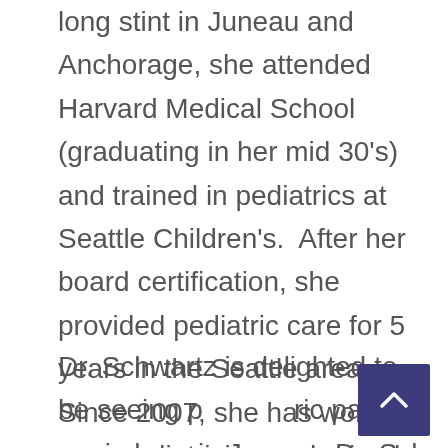long stint in Juneau and Anchorage, she attended Harvard Medical School (graduating in her mid 30's) and trained in pediatrics at Seattle Children's.  After her board certification, she provided pediatric care for 5 years in the Seattle area.  Since 2007, she has worked as a pediatrician and raised two daughters here in Juneau.
Dr. Schwartz is delighted to be seeing pediatric patients again here in Juneau.  Dr. Sch...